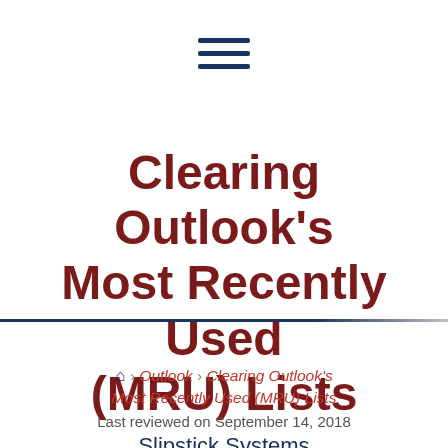[Figure (other): Hamburger menu icon with three horizontal dark navy bars]
Clearing Outlook's Most Recently Used (MRU) Lists
Slipstick Systems
🏠 › Outlook › Clearing Outlook's Most Recently Used (MRU) Lists
Last reviewed on September 14, 2018